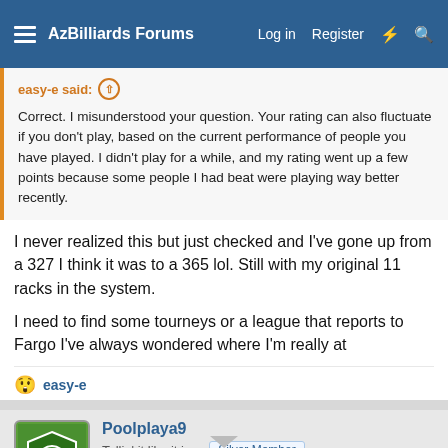AzBilliards Forums  Log in  Register
easy-e said:
Correct. I misunderstood your question. Your rating can also fluctuate if you don't play, based on the current performance of people you have played. I didn't play for a while, and my rating went up a few points because some people I had beat were playing way better recently.
I never realized this but just checked and I've gone up from a 327 I think it was to a 365 lol. Still with my original 11 racks in the system.

I need to find some tourneys or a league that reports to Fargo I've always wondered where I'm really at
easy-e
Poolplaya9
Tellin' it like it is...  Silver Member